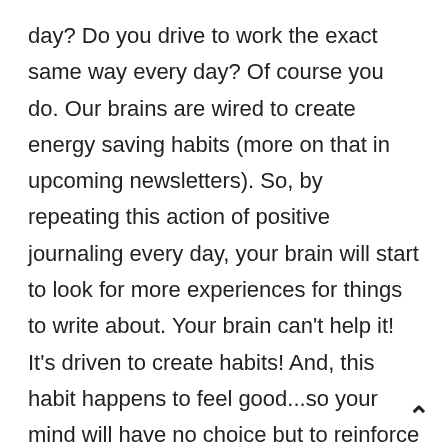day? Do you drive to work the exact same way every day? Of course you do. Our brains are wired to create energy saving habits (more on that in upcoming newsletters). So, by repeating this action of positive journaling every day, your brain will start to look for more experiences for things to write about. Your brain can't help it! It's driven to create habits! And, this habit happens to feel good...so your mind will have no choice but to reinforce this habit daily.
This may sound overly simplistic, until you give it a try. For some of us, at first, finding a good thing to write about might be a challenge. So, start small and easy. Did someone smile at you today? Did your car get you from point A to B without incident? Did you see a funny video